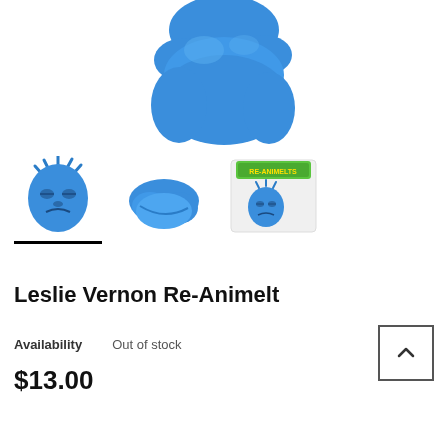[Figure (photo): Close-up top view of a blue rubber toy resembling a melting face figure (Leslie Vernon Re-Animelt), showing the rounded blue rubbery top portion against white background]
[Figure (photo): Three product thumbnail images: left shows front face view of blue rubber character with droopy face and spiky hair; middle shows side/back view of the blue figure; right shows product in packaging with green Re-Animelts logo label]
Leslie Vernon Re-Animelt
Availability   Out of stock
$13.00